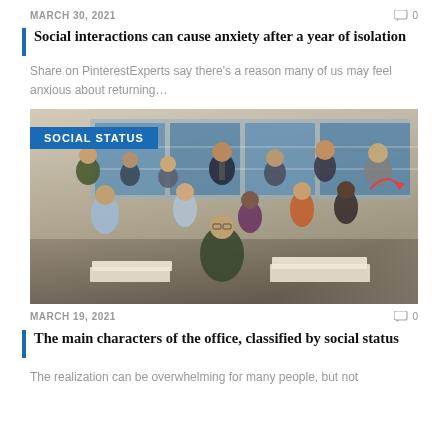MARCH 30, 2021
Social interactions can cause anxiety after a year of isolation
Share on PinterestExperts say there’s a reason many of us may feel anxious about returning…
[Figure (photo): Group photo of the main cast of The Office TV show in an office setting. A blue badge in the top-left reads 'SOCIAL STATUS'.]
MARCH 19, 2021
The main characters of the office, classified by social status
The realization can be overwhelming for many people, but not